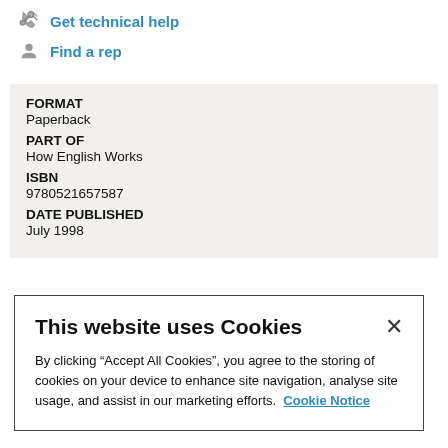Get technical help
Find a rep
| FORMAT |  |
| Paperback |  |
| PART OF |  |
| How English Works |  |
| ISBN |  |
| 9780521657587 |  |
| DATE PUBLISHED |  |
| July 1998 |  |
This website uses Cookies
By clicking “Accept All Cookies”, you agree to the storing of cookies on your device to enhance site navigation, analyse site usage, and assist in our marketing efforts.  Cookie Notice